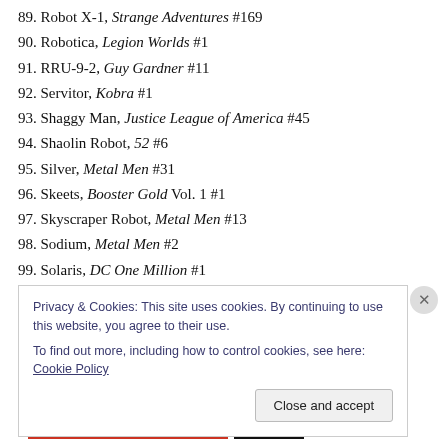89. Robot X-1, Strange Adventures #169
90. Robotica, Legion Worlds #1
91. RRU-9-2, Guy Gardner #11
92. Servitor, Kobra #1
93. Shaggy Man, Justice League of America #45
94. Shaolin Robot, 52 #6
95. Silver, Metal Men #31
96. Skeets, Booster Gold Vol. 1 #1
97. Skyscraper Robot, Metal Men #13
98. Sodium, Metal Men #2
99. Solaris, DC One Million #1
Privacy & Cookies: This site uses cookies. By continuing to use this website, you agree to their use. To find out more, including how to control cookies, see here: Cookie Policy